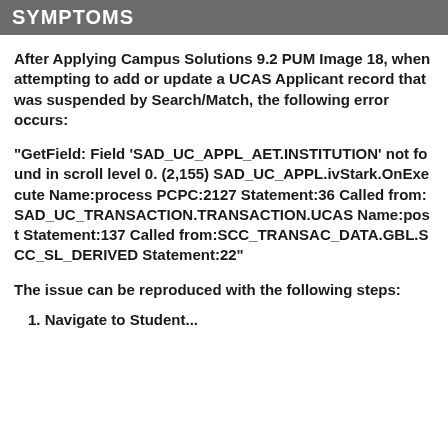SYMPTOMS
After Applying Campus Solutions 9.2 PUM Image 18, when attempting to add or update a UCAS Applicant record that was suspended by Search/Match, the following error occurs:
"GetField: Field 'SAD_UC_APPL_AET.INSTITUTION' not found in scroll level 0. (2,155) SAD_UC_APPL.ivStark.OnExecute Name:process PCPC:2127 Statement:36 Called from:SAD_UC_TRANSACTION.TRANSACTION.UCAS Name:post Statement:137 Called from:SCC_TRANSAC_DATA.GBL.SCC_SL_DERIVED Statement:22"
The issue can be reproduced with the following steps:
1. Navigate to Student...